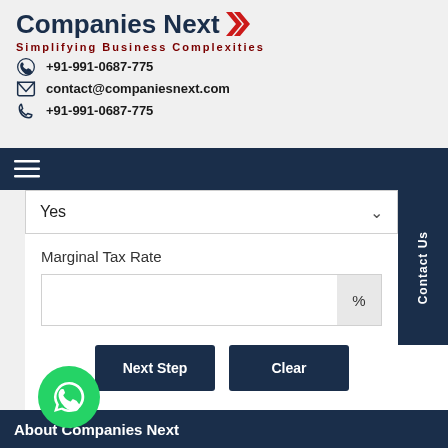Companies Next »
Simplifying Business Complexities
+91-991-0687-775
contact@companiesnext.com
+91-991-0687-775
[Figure (screenshot): Navigation bar with hamburger menu icon on dark navy background]
[Figure (screenshot): Dropdown selector showing Yes with chevron, Contact Us side tab, Marginal Tax Rate label with percent input field, Next Step and Clear buttons]
[Figure (logo): WhatsApp green circle icon]
About Companies Next